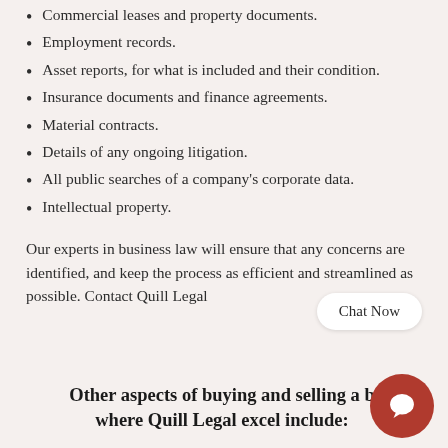Commercial leases and property documents.
Employment records.
Asset reports, for what is included and their condition.
Insurance documents and finance agreements.
Material contracts.
Details of any ongoing litigation.
All public searches of a company's corporate data.
Intellectual property.
Our experts in business law will ensure that any concerns are identified, and keep the process as efficient and streamlined as possible. Contact Quill Legal
Other aspects of buying and selling a b where Quill Legal excel include: